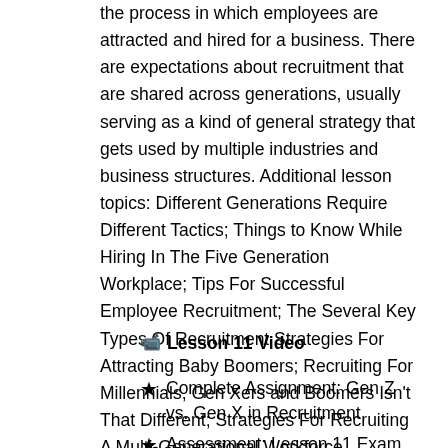the process in which employees are attracted and hired for a business. There are expectations about recruitment that are shared across generations, usually serving as a kind of general strategy that gets used by multiple industries and business structures. Additional lesson topics: Different Generations Require Different Tactics; Things to Know While Hiring In The Five Generation Workplace; Tips For Successful Employee Recruitment; The Several Key Types Of Recruitment Strategies For Attracting Baby Boomers; Recruiting For Millennials, Gen Xers and Boomers Isn't That Different; Strategies For Recruiting A Multi-Generational Workforce
🎥 Lesson 11 Video
★ Complete Assignment: Gen Z vs. Gen X in Recruitment
★ Assessment: Lesson 11 Exam